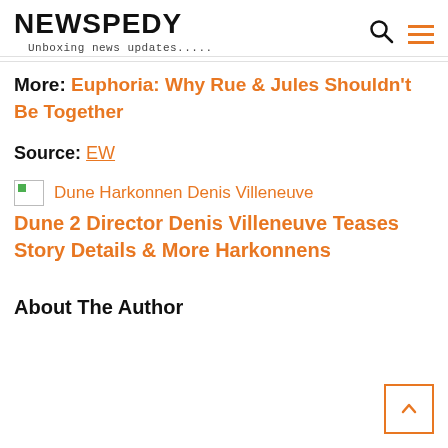NEWSPEDY — Unboxing news updates.....
More: Euphoria: Why Rue & Jules Shouldn't Be Together
Source: EW
[Figure (photo): Thumbnail image placeholder labeled 'Dune Harkonnen Denis Villeneuve']
Dune 2 Director Denis Villeneuve Teases Story Details & More Harkonnens
About The Author